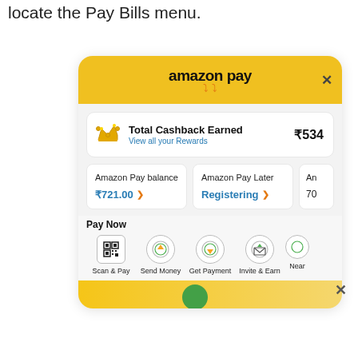locate the Pay Bills menu.
[Figure (screenshot): Amazon Pay app screenshot showing Total Cashback Earned ₹534, Amazon Pay balance ₹721.00, Amazon Pay Later Registering, and Pay Now icons: Scan & Pay, Send Money, Get Payment, Invite & Earn, Near... A partial yellow banner is visible at the bottom.]